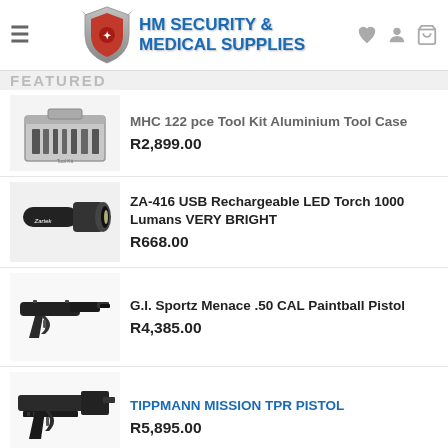HM SECURITY & MEDICAL SUPPLIES
MHC 122 pce Tool Kit Aluminium Tool Case — R2,899.00
ZA-416 USB Rechargeable LED Torch 1000 Lumans VERY BRIGHT — R668.00
G.I. Sportz Menace .50 CAL Paintball Pistol — R4,385.00
TIPPMANN MISSION TPR PISTOL — R5,895.00
TOP RATED